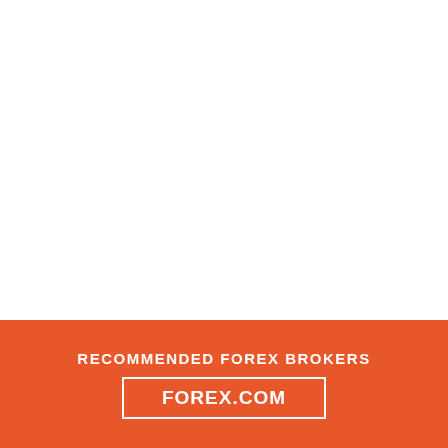You should only use the services of regulated brokers, the vast majority of which offer clients MT5 or the still very
RECOMMENDED FOREX BROKERS
FOREX.COM